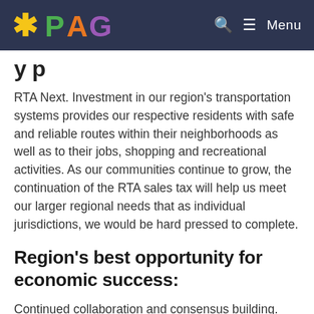PAG — Menu
y p
RTA Next. Investment in our region's transportation systems provides our respective residents with safe and reliable routes within their neighborhoods as well as to their jobs, shopping and recreational activities. As our communities continue to grow, the continuation of the RTA sales tax will help us meet our larger regional needs that as individual jurisdictions, we would be hard pressed to complete.
Region's best opportunity for economic success:
Continued collaboration and consensus building.